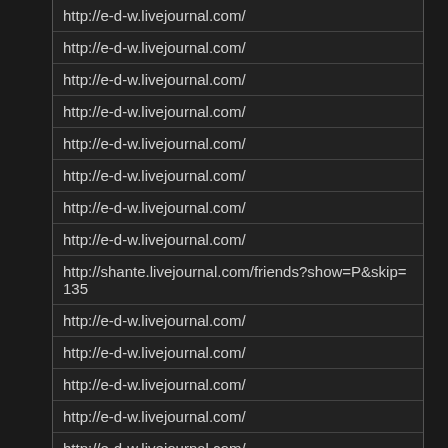| http://e-d-w.livejournal.com/ |
| http://e-d-w.livejournal.com/ |
| http://e-d-w.livejournal.com/ |
| http://e-d-w.livejournal.com/ |
| http://e-d-w.livejournal.com/ |
| http://e-d-w.livejournal.com/ |
| http://e-d-w.livejournal.com/ |
| http://e-d-w.livejournal.com/ |
| http://shante.livejournal.com/friends?show=P&skip=135 |
| http://e-d-w.livejournal.com/ |
| http://e-d-w.livejournal.com/ |
| http://e-d-w.livejournal.com/ |
| http://e-d-w.livejournal.com/ |
| http://e-d-w.livejournal.com/ |
| http://e-d-w.livejournal.com/?skip=10 |
| http://e-d-w.livejournal.com/ |
| http://e-d-w.livejournal.com/ |
| http://e-d-w.livejournal.com/ |
| http://e-d-w.livejournal.com/ |